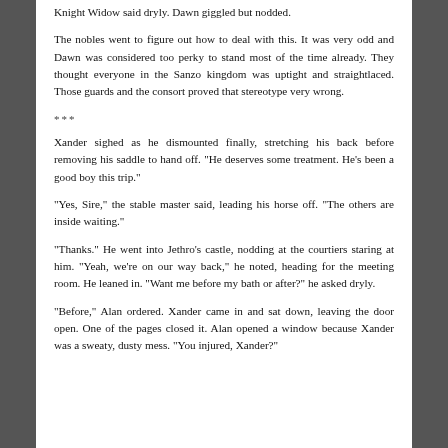Knight Widow said dryly. Dawn giggled but nodded.
The nobles went to figure out how to deal with this. It was very odd and Dawn was considered too perky to stand most of the time already. They thought everyone in the Sanzo kingdom was uptight and straightlaced. Those guards and the consort proved that stereotype very wrong.
***
Xander sighed as he dismounted finally, stretching his back before removing his saddle to hand off. "He deserves some treatment. He's been a good boy this trip."
"Yes, Sire," the stable master said, leading his horse off. "The others are inside waiting."
"Thanks." He went into Jethro's castle, nodding at the courtiers staring at him. "Yeah, we're on our way back," he noted, heading for the meeting room. He leaned in. "Want me before my bath or after?" he asked dryly.
"Before," Alan ordered. Xander came in and sat down, leaving the door open. One of the pages closed it. Alan opened a window because Xander was a sweaty, dusty mess. "You injured, Xander?"